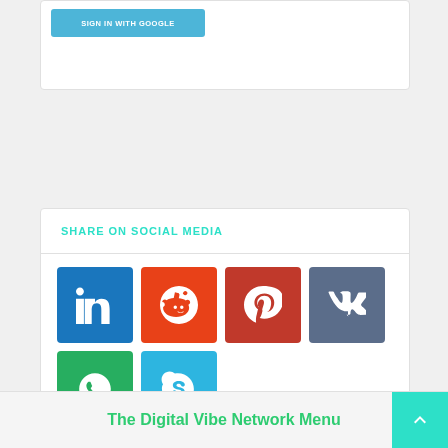[Figure (screenshot): Sign in with Google button (blue/teal)]
SHARE ON SOCIAL MEDIA
[Figure (infographic): Social media share buttons: LinkedIn (blue), Reddit (orange), Pinterest (red), VK (slate blue), WhatsApp (green), Skype (light blue)]
The Digital Vibe Network Menu